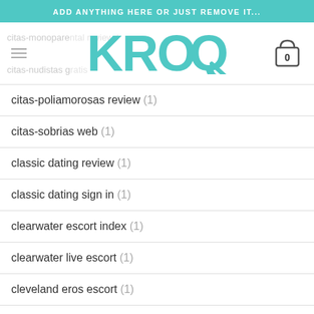ADD ANYTHING HERE OR JUST REMOVE IT...
[Figure (logo): KROQ logo in teal/turquoise color]
citas-poliamorosas review (1)
citas-sobrias web (1)
classic dating review (1)
classic dating sign in (1)
clearwater escort index (1)
clearwater live escort (1)
cleveland eros escort (1)
clinton escort (2)
clinton escort near me (1)